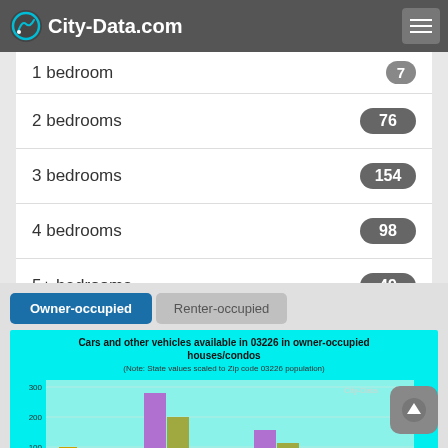City-Data.com
1 bedroom   7
2 bedrooms   76
3 bedrooms   154
4 bedrooms   98
5+ bedrooms   49
Owner-occupied | Renter-occupied
[Figure (bar-chart): Bar chart showing cars/vehicles available in owner-occupied houses/condos in zip code 03226. Y-axis shows values up to ~300. Bars visible include a purple bar (~270) and olive/green bar (~130) for certain vehicle counts.]